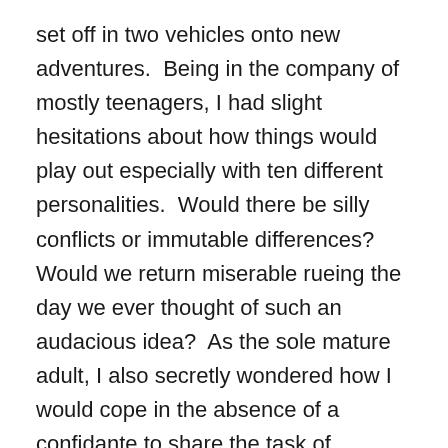set off in two vehicles onto new adventures.  Being in the company of mostly teenagers, I had slight hesitations about how things would play out especially with ten different personalities.  Would there be silly conflicts or immutable differences?  Would we return miserable rueing the day we ever thought of such an audacious idea?  As the sole mature adult, I also secretly wondered how I would cope in the absence of a confidante to share the task of shepherding that group.  However, I never needed it.  The holiday was a resounding success so much so that we have already planned to go away together again!
[Figure (photo): Landscape photo showing green tree-covered hills/mountains under a partly cloudy blue sky.]